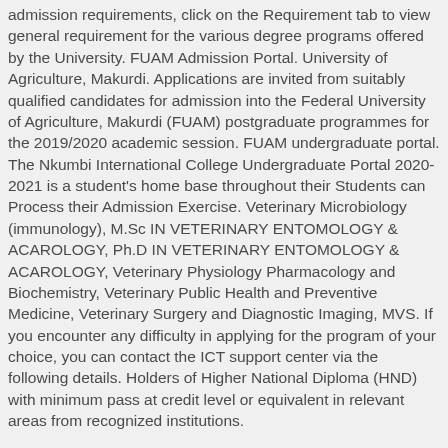admission requirements, click on the Requirement tab to view general requirement for the various degree programs offered by the University. FUAM Admission Portal. University of Agriculture, Makurdi. Applications are invited from suitably qualified candidates for admission into the Federal University of Agriculture, Makurdi (FUAM) postgraduate programmes for the 2019/2020 academic session. FUAM undergraduate portal. The Nkumbi International College Undergraduate Portal 2020-2021 is a student's home base throughout their Students can Process their Admission Exercise. Veterinary Microbiology (immunology), M.Sc IN VETERINARY ENTOMOLOGY & ACAROLOGY, Ph.D IN VETERINARY ENTOMOLOGY & ACAROLOGY, Veterinary Physiology Pharmacology and Biochemistry, Veterinary Public Health and Preventive Medicine, Veterinary Surgery and Diagnostic Imaging, MVS. If you encounter any difficulty in applying for the program of your choice, you can contact the ICT support center via the following details. Holders of Higher National Diploma (HND) with minimum pass at credit level or equivalent in relevant areas from recognized institutions.